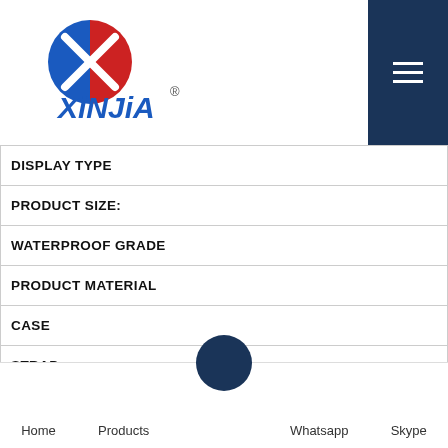XinJia logo and navigation menu
| DISPLAY TYPE |
| PRODUCT SIZE: |
| WATERPROOF GRADE |
| PRODUCT MATERIAL |
| CASE |
| STRAP |
| GLASS |
| CASE BACK |
| MOVEMENT |
| BATTERY |
Home  Products  Whatsapp  Skype